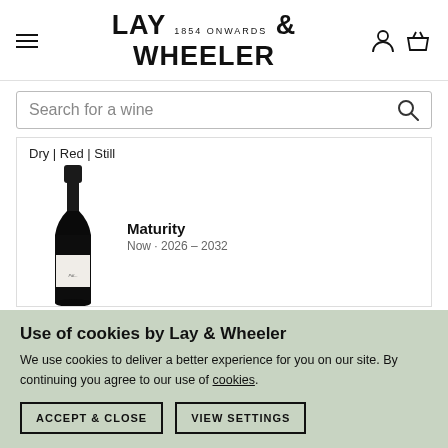LAY 1854 ONWARDS & WHEELER
Search for a wine
Dry | Red | Still
[Figure (photo): A dark wine bottle with white label, upright on white background]
Maturity
Use of cookies by Lay & Wheeler
We use cookies to deliver a better experience for you on our site. By continuing you agree to our use of cookies.
ACCEPT & CLOSE
VIEW SETTINGS